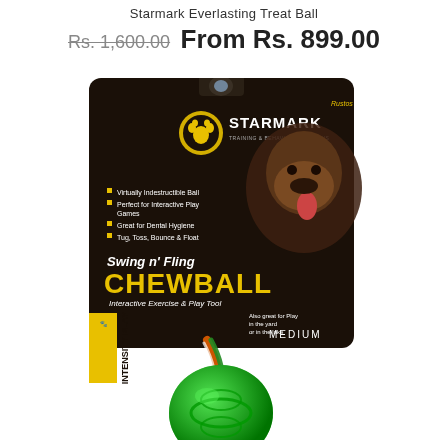Starmark Everlasting Treat Ball
Rs. 1,600.00  From Rs. 899.00
[Figure (photo): Product photo of Starmark Swing n' Fling Chewball, Medium size. Dark packaging showing a dog, with bullet points listing product features: Virtually Indestructible Ball, Perfect for Interactive Play Games, Great for Dental Hygiene, Tug, Toss, Bounce & Float. The text 'Swing n' Fling CHEWBALL Interactive Exercise & Play Tool' and 'MEDIUM' are visible. A green rubber ball is attached to a colorful braided rope, shown in the foreground.]